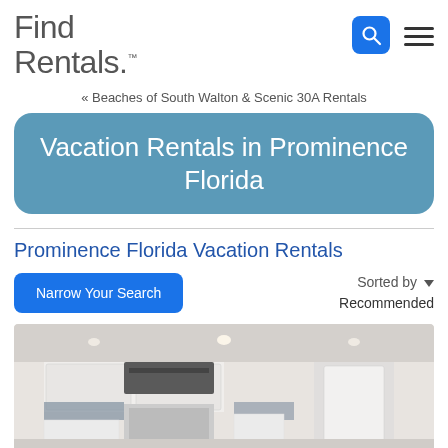Find Rentals
« Beaches of South Walton & Scenic 30A Rentals
Vacation Rentals in Prominence Florida
Prominence Florida Vacation Rentals
Narrow Your Search
Sorted by ▾ Recommended
[Figure (photo): Interior photo of a modern kitchen with white cabinets, stainless range hood, and tile backsplash]